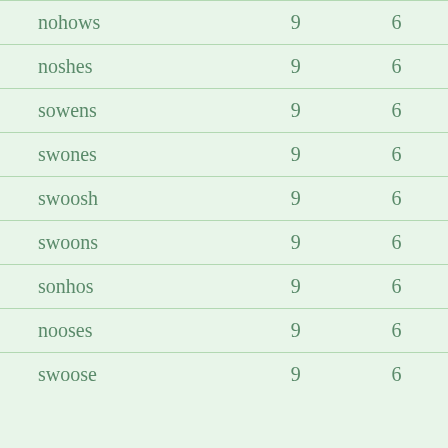| nohows | 9 | 6 |
| noshes | 9 | 6 |
| sowens | 9 | 6 |
| swones | 9 | 6 |
| swoosh | 9 | 6 |
| swoons | 9 | 6 |
| sonhos | 9 | 6 |
| nooses | 9 | 6 |
| swoose | 9 | 6 |